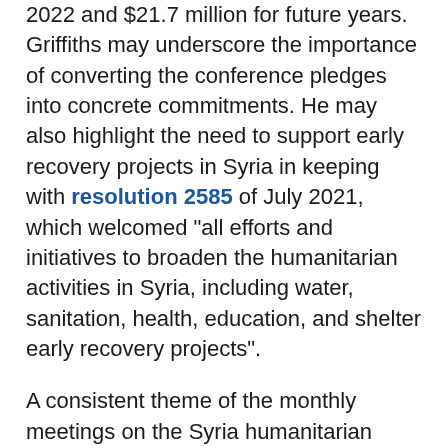2022 and $21.7 million for future years. Griffiths may underscore the importance of converting the conference pledges into concrete commitments. He may also highlight the need to support early recovery projects in Syria in keeping with resolution 2585 of July 2021, which welcomed “all efforts and initiatives to broaden the humanitarian activities in Syria, including water, sanitation, health, education, and shelter early recovery projects”.
A consistent theme of the monthly meetings on the Syria humanitarian track—which is likely to feature prominently in the discussion again tomorrow—is the continued need for cross-line and cross-border humanitarian assistance in Syria. Resolution 2585 mandates the delivery of cross-line (that is, across domestic frontlines from Syrian government-held areas into areas outside government control) and cross-border humanitarian aid (from Turkey into Syria through the Bab al-Hawa crossing). While Griffiths is likely to welcome the cross-line delivery in northwest Syria